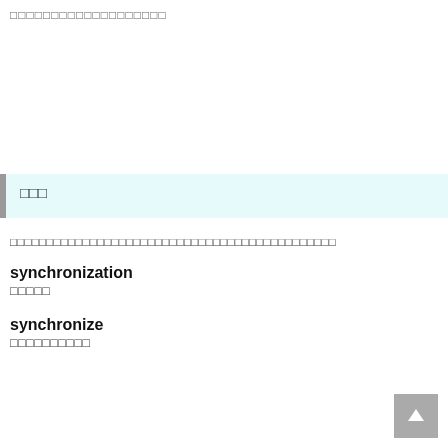□□□□□□□□□□□□□□□□□□□
□□□
□□□□□□□□□□□□□□□□□□□□□□□□□□□□□□□□□□□□□□□□□□□□□
synchronization
□□□□□
synchronize
□□□□□□□□□□